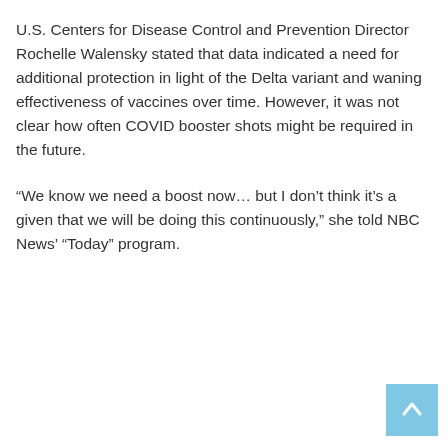U.S. Centers for Disease Control and Prevention Director Rochelle Walensky stated that data indicated a need for additional protection in light of the Delta variant and waning effectiveness of vaccines over time. However, it was not clear how often COVID booster shots might be required in the future.
“We know we need a boost now… but I don’t think it’s a given that we will be doing this continuously,” she told NBC News’ “Today” program.